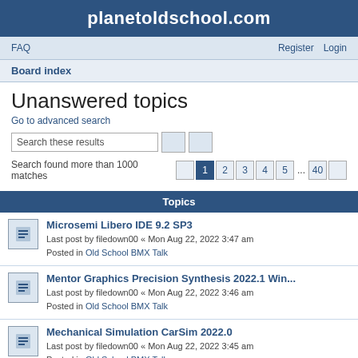planetoldschool.com
FAQ    Register    Login
Board index
Unanswered topics
Go to advanced search
Search these results
Search found more than 1000 matches   1 2 3 4 5 ... 40
Topics
Microsemi Libero IDE 9.2 SP3
Last post by filedown00 « Mon Aug 22, 2022 3:47 am
Posted in Old School BMX Talk
Mentor Graphics Precision Synthesis 2022.1 Win...
Last post by filedown00 « Mon Aug 22, 2022 3:46 am
Posted in Old School BMX Talk
Mechanical Simulation CarSim 2022.0
Last post by filedown00 « Mon Aug 22, 2022 3:45 am
Posted in Old School BMX Talk
Leica XPro 6.4.4 x64
Last post by filedown00 « Mon Aug 22, 2022 3:45 am
Posted in Old School BMX Talk